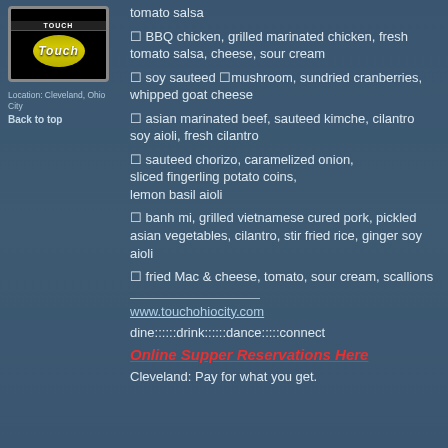[Figure (logo): Touch restaurant logo — black background with gold oval and italic white 'Touch' text]
Location: Cleveland, Ohio City
Back to top
❑ tomato salsa (partial, top of page)
❑ BBQ chicken, grilled marinated chicken, fresh tomato salsa, cheese, sour cream
❑ soy sauteed ❑mushroom, sundried cranberries, whipped goat cheese
❑ asian marinated beef, sauteed kimche, cilantro soy aioli, fresh cilantro
❑ sauteed chorizo, caramelized onion, sliced fingerling potato coins, lemon basil aioli
❑ banh mi, grilled vietnamese cured pork, pickled asian vegetables, cilantro, stir fried rice, ginger soy aioli
❑ fried Mac & cheese, tomato, sour cream, scallions
www.touchohiocity.com
dine::::::drink::::::dance:::::connect
Online Supper Reservations Here
Cleveland: Pay for what you get.